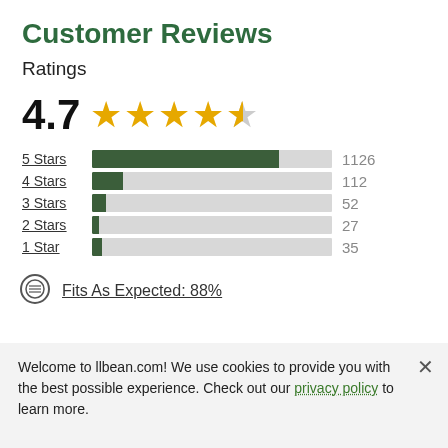Customer Reviews
Ratings
[Figure (other): 4.7 star rating displayed as large bold number with 4 full gold stars and 1 partial (gray) star]
[Figure (bar-chart): Star Ratings Distribution]
Fits As Expected: 88%
Welcome to llbean.com! We use cookies to provide you with the best possible experience. Check out our privacy policy to learn more.